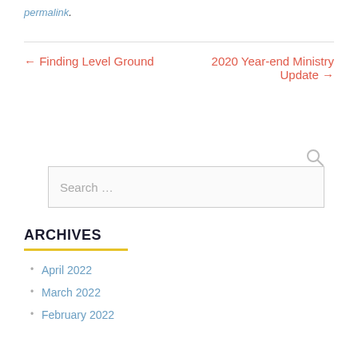permalink.
← Finding Level Ground
2020 Year-end Ministry Update →
Search …
ARCHIVES
April 2022
March 2022
February 2022